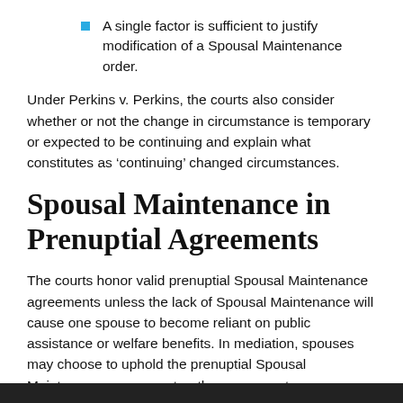A single factor is sufficient to justify modification of a Spousal Maintenance order.
Under Perkins v. Perkins, the courts also consider whether or not the change in circumstance is temporary or expected to be continuing and explain what constitutes as ‘continuing’ changed circumstances.
Spousal Maintenance in Prenuptial Agreements
The courts honor valid prenuptial Spousal Maintenance agreements unless the lack of Spousal Maintenance will cause one spouse to become reliant on public assistance or welfare benefits. In mediation, spouses may choose to uphold the prenuptial Spousal Maintenance agreement or they may create new agreements.